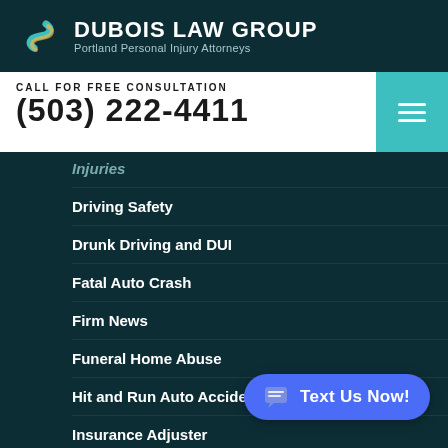DUBOIS LAW GROUP — Portland Personal Injury Attorneys
CALL FOR FREE CONSULTATION
(503) 222-4411
Injuries (partially visible)
Driving Safety
Drunk Driving and DUI
Fatal Auto Crash
Firm News
Funeral Home Abuse
Hit and Run Auto Accident
Insurance Adjuster
Intentional Assaults